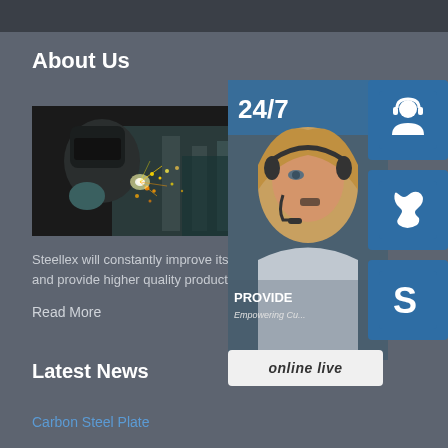About Us
[Figure (photo): A welder in protective gear creating sparks while welding metal parts in an industrial setting]
Steellex will constantly improve its mechanical and provide higher quality products with excel...
Read More
[Figure (infographic): 24/7 customer support panel showing a female customer service representative with headset, with 'PROVIDE Empowering Cu...' text, alongside three blue icon buttons (headset, phone, Skype) and an 'online live' button]
Latest News
Carbon Steel Plate